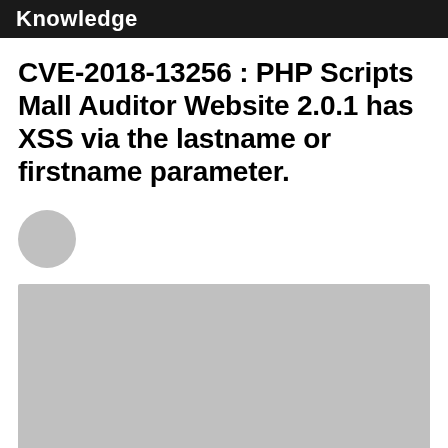Knowledge
CVE-2018-13256 : PHP Scripts Mall Auditor Website 2.0.1 has XSS via the lastname or firstname parameter.
[Figure (photo): Circular gray avatar placeholder]
[Figure (photo): Large gray rectangular image placeholder]